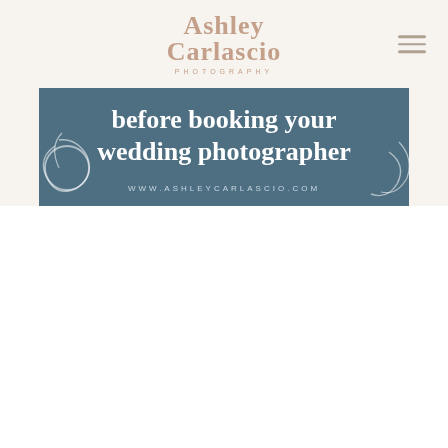Ashley Carlascio PHOTOGRAPHY
[Figure (illustration): Dark teal/slate blue banner with bold white text reading 'before booking your wedding photographer' and website URL 'WWW.ASHLEYCARLASCIO.COM' with decorative white swirl/circle flourishes on lower left and right corners]